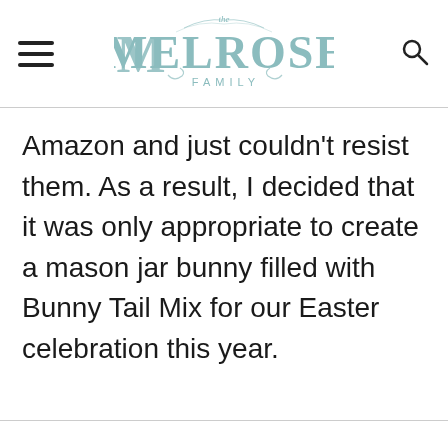the Melrose Family
Amazon and just couldn't resist them. As a result, I decided that it was only appropriate to create a mason jar bunny filled with Bunny Tail Mix for our Easter celebration this year.